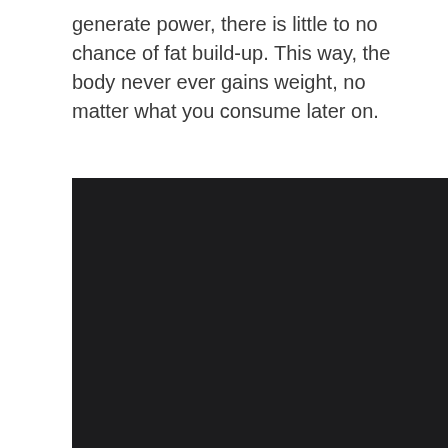generate power, there is little to no chance of fat build-up. This way, the body never ever gains weight, no matter what you consume later on.
[Figure (photo): A large mostly black/dark image, likely a photograph that is very darkly exposed or depicting a dark subject. The image occupies the lower portion of the page.]